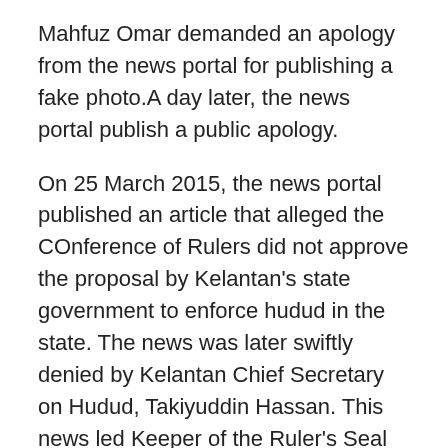Mahfuz Omar demanded an apology from the news portal for publishing a fake photo.A day later, the news portal publish a public apology.
On 25 March 2015, the news portal published an article that alleged the COnference of Rulers did not approve the proposal by Kelantan's state government to enforce hudud in the state. The news was later swiftly denied by Kelantan Chief Secretary on Hudud, Takiyuddin Hassan. This news led Keeper of the Ruler's Seal to file a police report,resulting in the arrest of three editors by the police and Malaysian Communications and Mutlimedia Commission (MCMC)
On 12 July 2015, the news portal published an unverified report of Citizens For Accountable Governance Malaysia (CAGM) claiming that thousands of ringgit were plumed